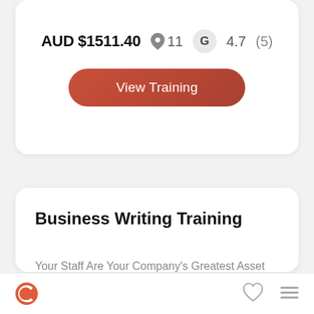AUD $1511.40   11   G   4.7  (5)
View Training
Business Writing Training
Your Staff Are Your Company's Greatest Asset And Are Essential In Achieving Your Business Goals And Training To B…